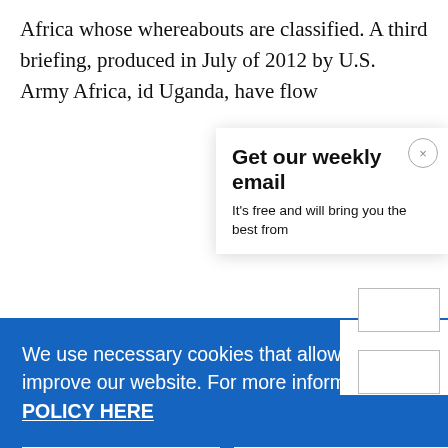Africa whose whereabouts are classified. A third briefing, produced in July of 2012 by U.S. Army Africa, id... Uganda, ...have flow...
Get our weekly email
It's free and will bring you the best from
We use necessary cookies that allow our site to work. We also set optional cookies that help us improve our website. For more information about the types of cookies we use. READ OUR COOKIES POLICY HERE
COOKIE SETTINGS
ALLOW ALL COOKIES
data.
concrete